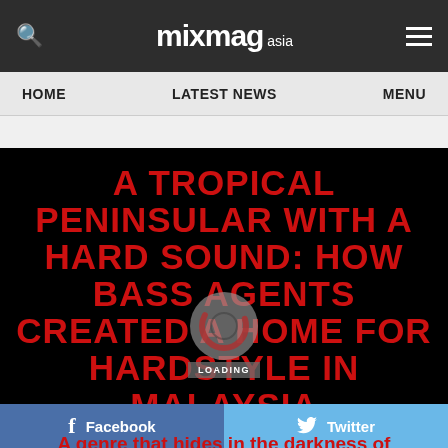mixmag asia
HOME   LATEST NEWS   MENU
A TROPICAL PENINSULAR WITH A HARD SOUND: HOW BASS AGENTS CREATED A HOME FOR HARDSTYLE IN MALAYSIA
A genre that hides in the darkness of electronic music, with its heavy kicks &
Facebook   Twitter